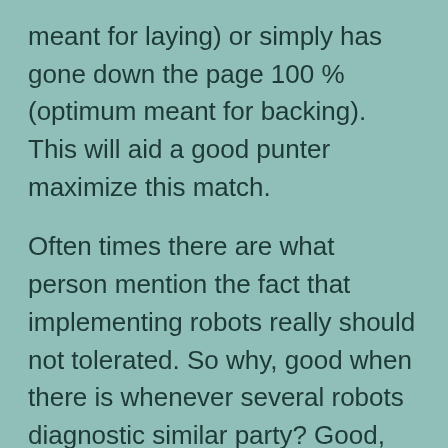meant for laying) or simply has gone down the page 100 % (optimum meant for backing). This will aid a good punter maximize this match.

Often times there are what person mention the fact that implementing robots really should not tolerated. So why, good when there is whenever several robots diagnostic similar party? Good, one simple bot may well return the internet as we say, the item extremely will pay for good to use a more sound arrange meant for deploying it. Utilizing this type of, consumers want to increase the speed of your diagnostic lives to build dibs over the material